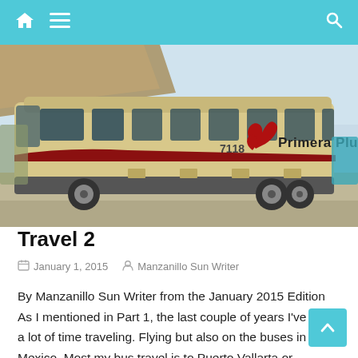Navigation bar with home, menu, and search icons
[Figure (photo): A Primera Plus bus (number 7118) parked at a bus station, beige/cream colored with red stripe and the Primera Plus logo featuring a red stylized bird/flower emblem.]
Travel 2
January 1, 2015   Manzanillo Sun Writer
By Manzanillo Sun Writer from the January 2015 Edition As I mentioned in Part 1, the last couple of years I've spent a lot of time traveling. Flying but also on the buses in Mexico. Most my bus travel is to Puerto Vallarta or Guadalajara to get the